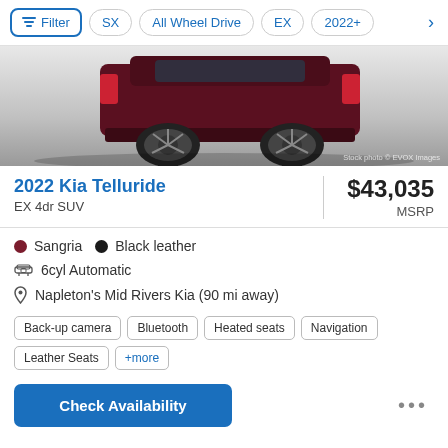Filter | SX | All Wheel Drive | EX | 2022+
[Figure (photo): Rear view of a dark red/sangria 2022 Kia Telluride SUV on a white/grey gradient background. Watermark reads: Stock photo © EVOX Images]
2022 Kia Telluride
EX 4dr SUV
$43,035 MSRP
Sangria  Black leather
6cyl Automatic
Napleton's Mid Rivers Kia (90 mi away)
Back-up camera  Bluetooth  Heated seats  Navigation  Leather Seats  +more
Check Availability